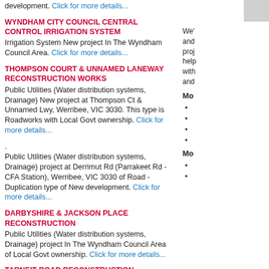development. Click for more details...
WYNDHAM CITY COUNCIL CENTRAL CONTROL IRRIGATION SYSTEM
Irrigation System New project In The Wyndham Council Area. Click for more details...
THOMPSON COURT & UNNAMED LANEWAY RECONSTRUCTION WORKS
Public Utilities (Water distribution systems, Drainage) New project at Thompson Ct & Unnamed Lwy, Werribee, VIC 3030. This type is Roadworks with Local Govt ownership. Click for more details...
. Public Utilities (Water distribution systems, Drainage) project at Derrimut Rd (Parrakeet Rd - CFA Station), Werribee, VIC 3030 of Road - Duplication type of New development. Click for more details...
DARBYSHIRE & JACKSON PLACE RECONSTRUCTION
Public Utilities (Water distribution systems, Drainage) project In The Wyndham Council Area of Local Govt ownership. Click for more details...
TARNEIT ROAD RECONSTRUCTION
Tarneit Road Reconstruction is currently at the Construction stage, valued at about $ 299000 it is Click for more details...
POINT COOK ROAD WETLAND RESERVE
Currently at the Planning stage In Wyndham is a project estimated to be $ 500000. This project Click for more details...
CRANA COURT RECONSTRUCTION
Roadworks project at Crana Ct, Hoppers Crossing, VIC 3029 In The Council Area Of Wyndham of Local Govt. Click for more details...
We' and proj help with and
Mo
Mo